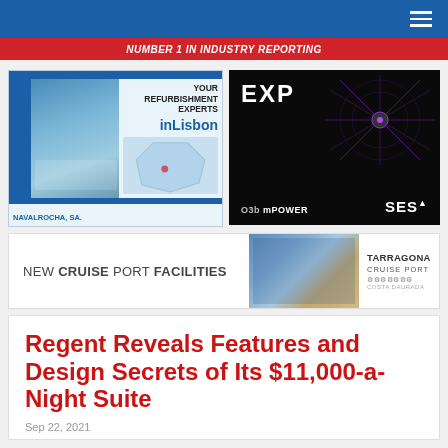Number 1 in Industry Reporting
[Figure (illustration): Navalrocha SA advertisement - Your Refurbishment Experts inLisbon]
[Figure (illustration): EXP SES O3b mPOWER satellite network advertisement]
[Figure (illustration): New Cruise Port Facilities - Tarragona Cruise Port Costa Daurada advertisement]
Regent Reveals Features and Design Secrets of Its $11,000-a-Night Suite
Sep 22, 2021